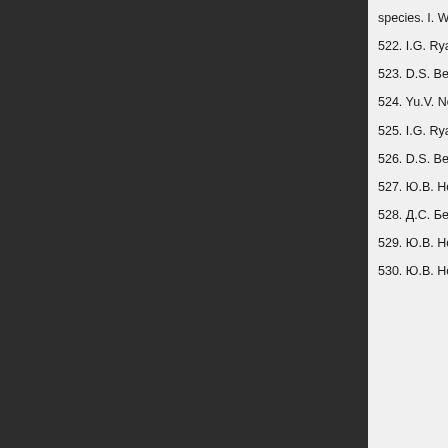species. I. Water cluster anions". // Struct. Chem.
522. I.G. Ryabinkin, Yu.V. Novakovskaya. "None species. II. Hydrated ozone anions". // Struct. Ch
523. D.S. Bezrukov, Yu.V. Novakovskaya. "None species. III. Hydrated nitrogen dioxide anions". //
524. Yu.V. Novakovskaya, N.F. Stepanov. "Ultrav Proc. SPIE. -2003. -V. 5311. -P. 245-253.
525. I.G. Ryabinkin, Yu.V. Novakovskaya, N.F. S simulation of model systems". // Int. J. Quantum.
526. D.S. Bezrukov, Yu.V. Novakovskaya, N.F. S Terms of Cluster Model". // Int. J. Quantum. Cher
527. Ю.В. Новаковская, И.Г. Рябинкин, Н.Ф. Ст присутствии молекул воды". // Ж. Физ. Химии.
528. Д.С. Безруков, Ю.В. Новаковская, Н.Ф. Ст неэмпирическое моделирование". //Ж. Физ. Хи
529. Ю.В. Новаковская. "Теоретическая оценк Аморфный лед". // Защита Металлов. -2006. -
530. Ю.В. Новаковская. "Теоретическая оценк Поверхностные слои воды". // Защита Металло